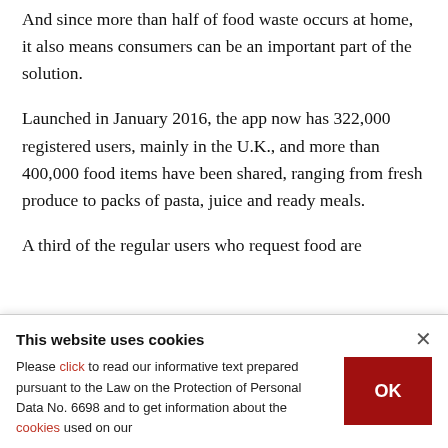And since more than half of food waste occurs at home, it also means consumers can be an important part of the solution.
Launched in January 2016, the app now has 322,000 registered users, mainly in the U.K., and more than 400,000 food items have been shared, ranging from fresh produce to packs of pasta, juice and ready meals.
A third of the regular users who request food are
This website uses cookies
Please click to read our informative text prepared pursuant to the Law on the Protection of Personal Data No. 6698 and to get information about the cookies used on our